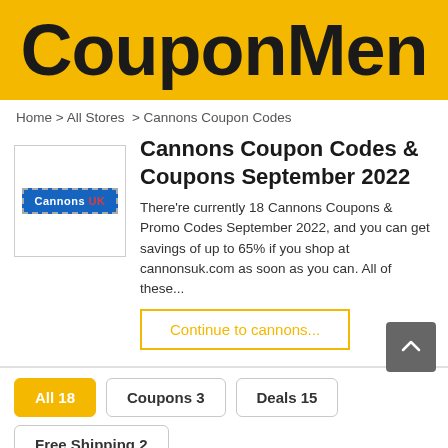[Figure (logo): CouponMen logo on yellow/gold background]
Home > All Stores  > Cannons Coupon Codes
Cannons Coupon Codes & Coupons September 2022
[Figure (logo): Cannons UK store logo — blue rectangle with dashed border and white text]
There're currently 18 Cannons Coupons & Promo Codes September 2022, and you can get savings of up to 65% if you shop at cannonsuk.com as soon as you can. All of these...
Continue to cannons...
All 18
Coupons 3
Deals 15
Free Shipping 2